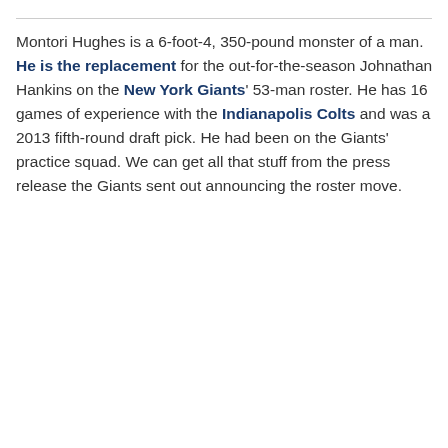Montori Hughes is a 6-foot-4, 350-pound monster of a man. He is the replacement for the out-for-the-season Johnathan Hankins on the New York Giants' 53-man roster. He has 16 games of experience with the Indianapolis Colts and was a 2013 fifth-round draft pick. He had been on the Giants' practice squad. We can get all that stuff from the press release the Giants sent out announcing the roster move.